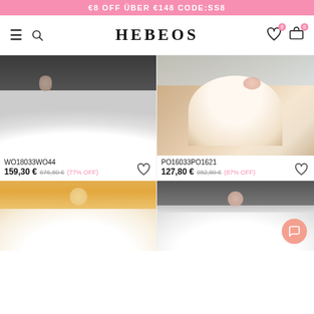€8 OFF ÜBER €148 CODE:SS8
HEBEOS
[Figure (photo): Wedding dress product photo - short white tulle ball gown worn by bride with bouquet, groom in background]
WO18033WO44
159,30 € 676,80 €(77% OFF)
[Figure (photo): Wedding dress product photo - champagne/ivory full ball gown with floral sash displayed in shop]
PO16033PO1621
127,80 € 982,80 €(87% OFF)
[Figure (photo): Wedding dress product photo - bride in white gown outdoors with flowers in background]
[Figure (photo): Wedding dress product photo - bride in white strapless gown indoors]